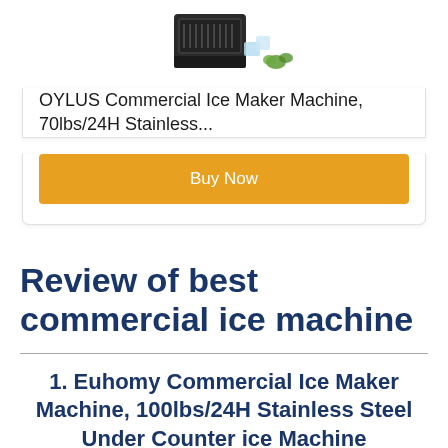[Figure (photo): Ice maker machine product image on white background with ice cubes and green herbs]
OYLUS Commercial Ice Maker Machine, 70lbs/24H Stainless...
Buy Now
Review of best commercial ice machine
1. Euhomy Commercial Ice Maker Machine, 100lbs/24H Stainless Steel Under Counter ice Machine